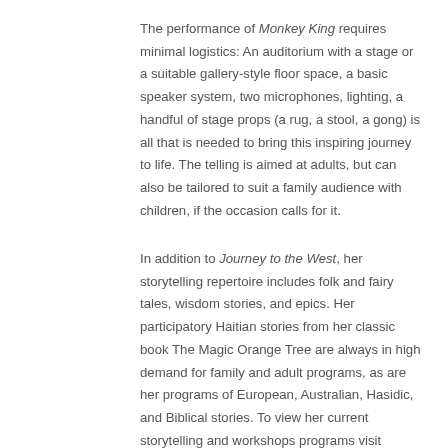The performance of Monkey King requires minimal logistics: An auditorium with a stage or a suitable gallery-style floor space, a basic speaker system, two microphones, lighting, a handful of stage props (a rug, a stool, a gong) is all that is needed to bring this inspiring journey to life. The telling is aimed at adults, but can also be tailored to suit a family audience with children, if the occasion calls for it.
In addition to Journey to the West, her storytelling repertoire includes folk and fairy tales, wisdom stories, and epics. Her participatory Haitian stories from her classic book The Magic Orange Tree are always in high demand for family and adult programs, as are her programs of European, Australian, Hasidic, and Biblical stories. To view her current storytelling and workshops programs visit www.dianewolkstein.com/about/storyteller/#repertoire
What to know? Diane art and...